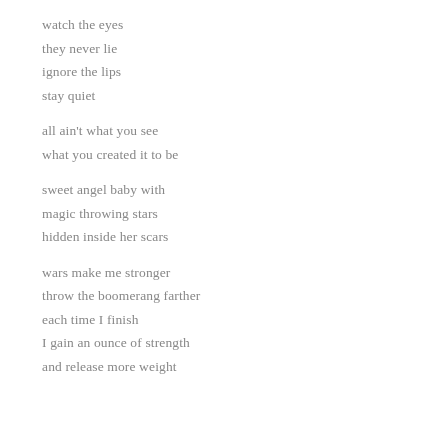watch the eyes
they never lie
ignore the lips
stay quiet

all ain't what you see
what you created it to be

sweet angel baby with
magic throwing stars
hidden inside her scars

wars make me stronger
throw the boomerang farther
each time I finish
I gain an ounce of strength
and release more weight